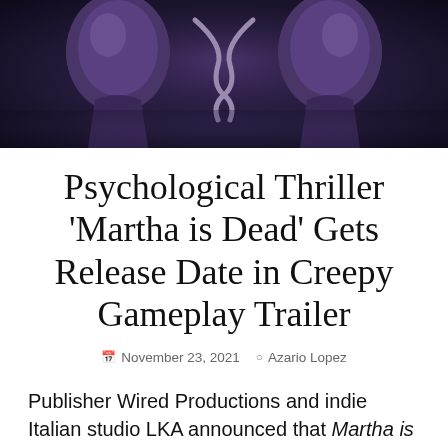[Figure (photo): Dark moody image showing two alien or supernatural silhouettes facing each other closely, purple/dark tones, from the game Martha is Dead]
Psychological Thriller 'Martha is Dead' Gets Release Date in Creepy Gameplay Trailer
November 23, 2021   Azario Lopez
Publisher Wired Productions and indie Italian studio LKA announced that Martha is Dead will launch for PlayStation 4, PlayStation 5, Xbox One, Xbox Series X, and PC-via Steam on February 24, 2022.